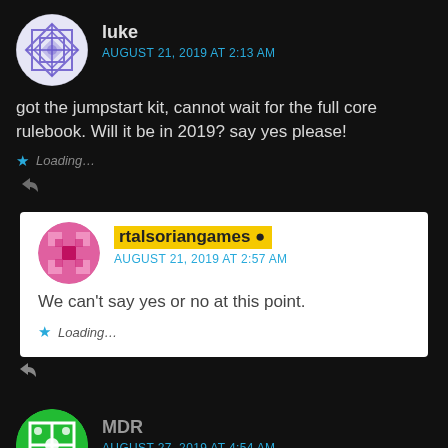[Figure (illustration): Avatar icon for user 'luke' — circular, purple/blue geometric pattern on white background]
luke
AUGUST 21, 2019 AT 2:13 AM
got the jumpstart kit, cannot wait for the full core rulebook. Will it be in 2019? say yes please!
Loading...
[Figure (illustration): Avatar icon for user 'rtalsoriangames' — circular, pink/magenta geometric pattern]
rtalsoriangames
AUGUST 21, 2019 AT 2:57 AM
We can't say yes or no at this point.
Loading...
[Figure (illustration): Avatar icon for user 'MDR' — circular, green geometric pattern on white background]
MDR
AUGUST 27, 2019 AT 4:54 AM
Great to see a new edition of one of my favorite RPGs, not